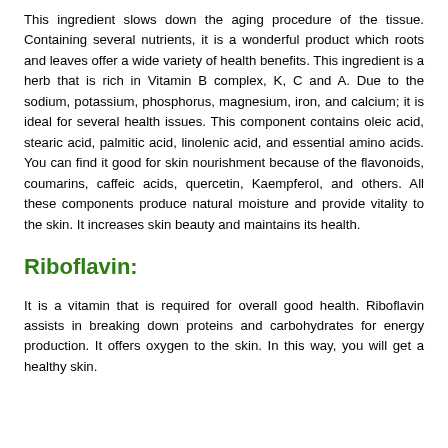This ingredient slows down the aging procedure of the tissue. Containing several nutrients, it is a wonderful product which roots and leaves offer a wide variety of health benefits. This ingredient is a herb that is rich in Vitamin B complex, K, C and A. Due to the sodium, potassium, phosphorus, magnesium, iron, and calcium; it is ideal for several health issues. This component contains oleic acid, stearic acid, palmitic acid, linolenic acid, and essential amino acids. You can find it good for skin nourishment because of the flavonoids, coumarins, caffeic acids, quercetin, Kaempferol, and others. All these components produce natural moisture and provide vitality to the skin. It increases skin beauty and maintains its health.
Riboflavin:
It is a vitamin that is required for overall good health. Riboflavin assists in breaking down proteins and carbohydrates for energy production. It offers oxygen to the skin. In this way, you will get a healthy skin.